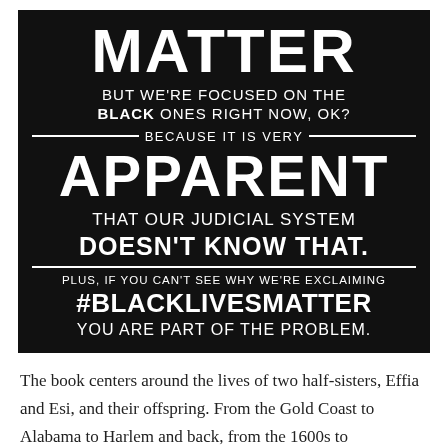[Figure (infographic): Black background poster with white text. Top shows partial word 'MATTER', followed by text: 'BUT WE'RE FOCUSED ON THE BLACK ONES RIGHT NOW, OK? — BECAUSE IT IS VERY — APPARENT THAT OUR JUDICIAL SYSTEM DOESN'T KNOW THAT. PLUS, IF YOU CAN'T SEE WHY WE'RE EXCLAIMING #BLACKLIVESMATTER YOU ARE PART OF THE PROBLEM.']
The book centers around the lives of two half-sisters, Effia and Esi, and their offspring. From the Gold Coast to Alabama to Harlem and back, from the 1600s to presumably present time, Gyasi explores the lives of